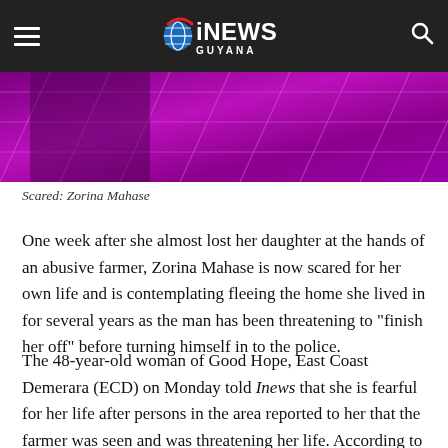iNEWS GUYANA
[Figure (photo): Cropped photo showing a person in a purple/magenta patterned outfit, partially visible]
Scared: Zorina Mahase
One week after she almost lost her daughter at the hands of an abusive farmer, Zorina Mahase is now scared for her own life and is contemplating fleeing the home she lived in for several years as the man has been threatening to “finish her off” before turning himself in to the police.
The 48-year-old woman of Good Hope, East Coast Demerara (ECD) on Monday told Inews that she is fearful for her life after persons in the area reported to her that the farmer was seen and was threatening her life. According to the woman, whose daughter was chopped mercilessly on February 24, she made a report to the police but was told that they cannot do anything